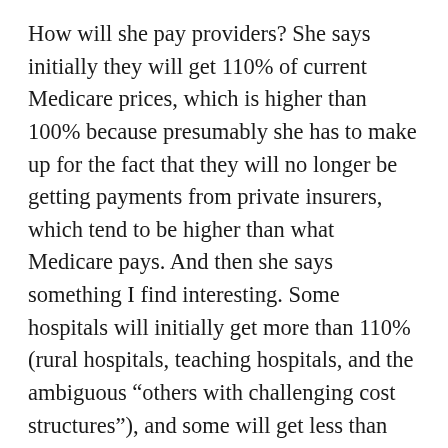How will she pay providers? She says initially they will get 110% of current Medicare prices, which is higher than 100% because presumably she has to make up for the fact that they will no longer be getting payments from private insurers, which tend to be higher than what Medicare pays. And then she says something I find interesting. Some hospitals will initially get more than 110% (rural hospitals, teaching hospitals, and the ambiguous “others with challenging cost structures”), and some will get less than 110% (those hospitals that are “doing fine with current Medicare rates”). I guess she wants to directly control profitability–hospitals that make more money